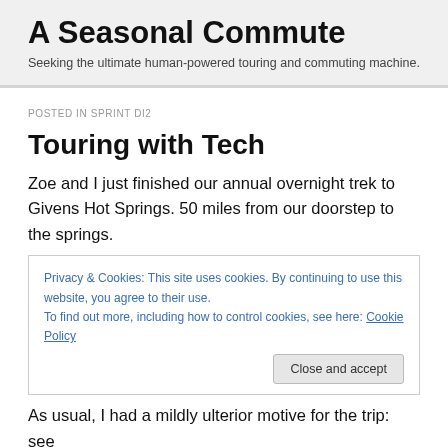A Seasonal Commute
Seeking the ultimate human-powered touring and commuting machine.
POSTED IN SPRINT DI2
Touring with Tech
Zoe and I just finished our annual overnight trek to Givens Hot Springs.  50 miles from our doorstep to the springs.
Privacy & Cookies: This site uses cookies. By continuing to use this website, you agree to their use.
To find out more, including how to control cookies, see here: Cookie Policy
As usual, I had a mildly ulterior motive for the trip:  see